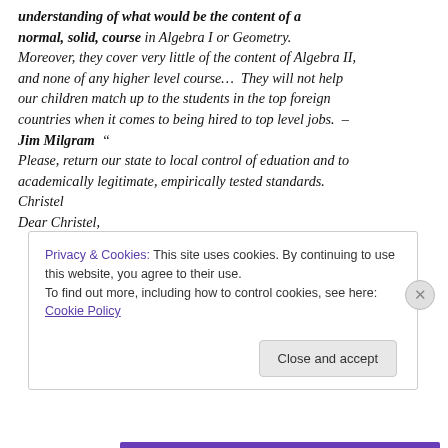understanding of what would be the content of a normal, solid, course in Algebra I or Geometry. Moreover, they cover very little of the content of Algebra II, and none of any higher level course…  They will not help our children match up to the students in the top foreign countries when it comes to being hired to top level jobs.  – Jim Milgram  "
Please, return our state to local control of eduation and to academically legitimate, empirically tested standards.
Christel
Dear Christel,
[Figure (screenshot): Cookie consent banner with text: 'Privacy & Cookies: This site uses cookies. By continuing to use this website, you agree to their use. To find out more, including how to control cookies, see here: Cookie Policy' and a 'Close and accept' button.]